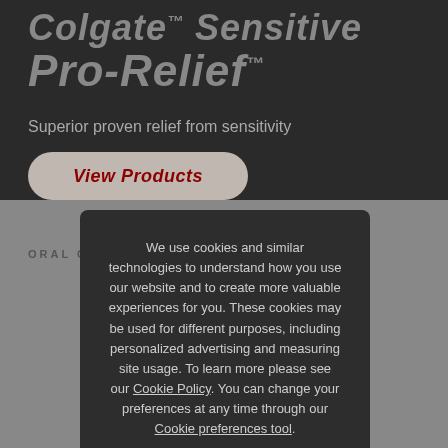Colgate™ Sensitive Pro-Relief™
Superior proven relief from sensitivity
View Products
ORAL CARE GOALS
We use cookies and similar technologies to understand how you use our website and to create more valuable experiences for you. These cookies may be used for different purposes, including personalized advertising and measuring site usage. To learn more please see our Cookie Policy. You can change your preferences at any time through our Cookie preferences tool.
Accept